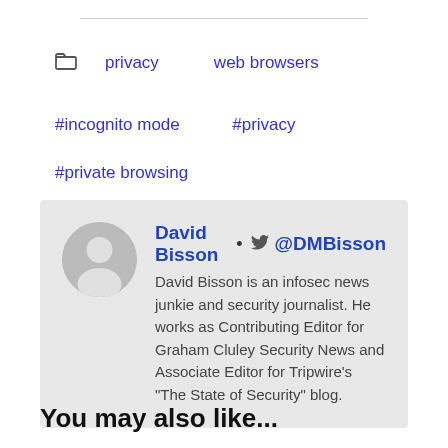privacy   web browsers
#incognito mode   #privacy
#private browsing
David Bisson • @DMBisson
David Bisson is an infosec news junkie and security journalist. He works as Contributing Editor for Graham Cluley Security News and Associate Editor for Tripwire's "The State of Security" blog.
You may also like...